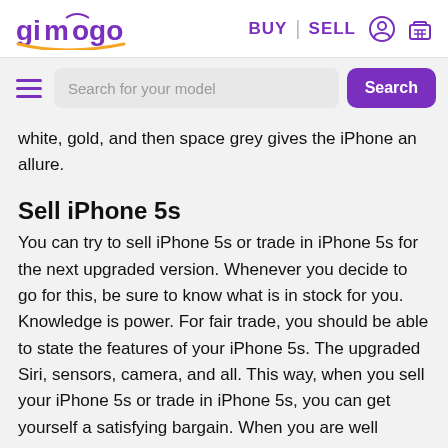gizmogo BUY | SELL
Search for your model
white, gold, and then space grey gives the iPhone an allure.
Sell iPhone 5s
You can try to sell iPhone 5s or trade in iPhone 5s for the next upgraded version. Whenever you decide to go for this, be sure to know what is in stock for you. Knowledge is power. For fair trade, you should be able to state the features of your iPhone 5s. The upgraded Siri, sensors, camera, and all. This way, when you sell your iPhone 5s or trade in iPhone 5s, you can get yourself a satisfying bargain. When you are well